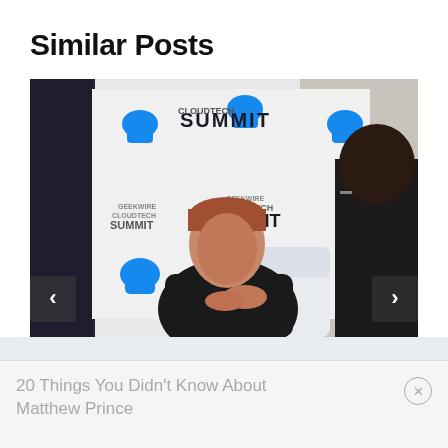Similar Posts
[Figure (photo): Two men seated on stage at GeekWire CloudTech Summit event. The man on the left is speaking — middle-aged, wearing a black jacket, with reddish-brown hair. The man on the right is seen from behind, wearing glasses and a dark suit. The backdrop has repeated 'GeekWire CloudTech Summit' branding with Salesforce cloud logos.]
20 Things You Didn't Know About Matthew Prince